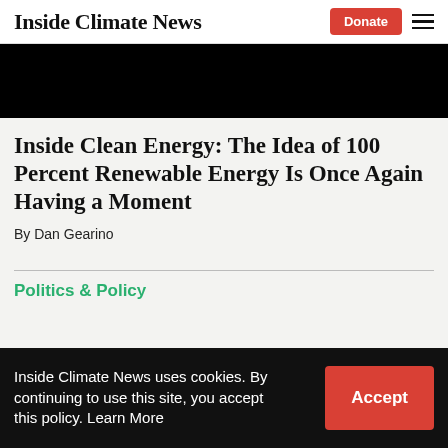Inside Climate News
[Figure (photo): Dark/black hero image at top of article]
Inside Clean Energy: The Idea of 100 Percent Renewable Energy Is Once Again Having a Moment
By Dan Gearino
Politics & Policy
Inside Climate News uses cookies. By continuing to use this site, you accept this policy. Learn More